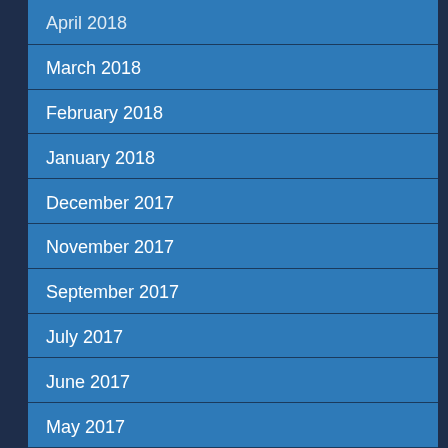April 2018
March 2018
February 2018
January 2018
December 2017
November 2017
September 2017
July 2017
June 2017
May 2017